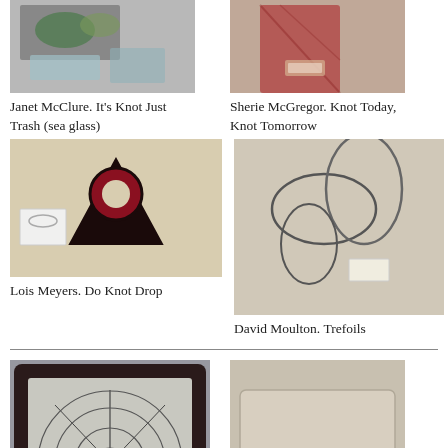[Figure (photo): Photo of jewelry/sea glass items on display]
Janet McClure. It's Knot Just Trash (sea glass)
[Figure (photo): Photo of a red knitted or woven garment on display]
Sherie McGregor. Knot Today, Knot Tomorrow
[Figure (photo): Photo of a black triquetra/Celtic knot pendant on a table]
Lois Meyers. Do Knot Drop
[Figure (photo): Photo of wire loop/circle sculptures on a wall]
David Moulton. Trefoils
[Figure (photo): Photo of a framed spiderweb wire sculpture]
Keith Murray. Arachknophobia
[Figure (photo): Photo of a decorative pillow with text]
Mary Murphy. French Knots